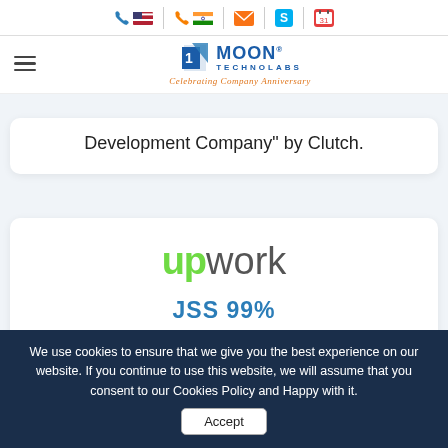Moon Technolabs - Contact icons header bar
[Figure (logo): Moon Technolabs logo with celebrating company anniversary tagline]
Development Company" by Clutch.
[Figure (logo): Upwork logo in green and grey]
JSS 99%
Got "Top Rated" Badge with 99% of Job Success
We use cookies to ensure that we give you the best experience on our website. If you continue to use this website, we will assume that you consent to our Cookies Policy and Happy with it.